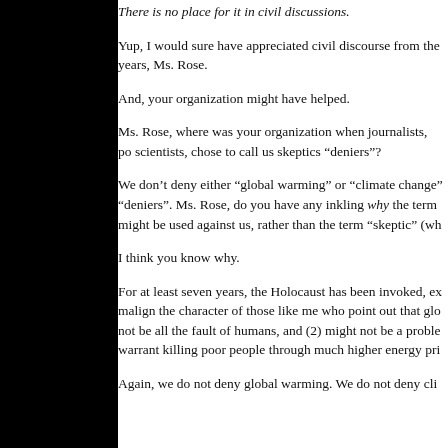There is no place for it in civil discussions.
Yup, I would sure have appreciated civil discourse from the years, Ms. Rose.
And, your organization might have helped.
Ms. Rose, where was your organization when journalists, po scientists, chose to call us skeptics “deniers”?
We don’t deny either “global warming” or “climate change” “deniers”. Ms. Rose, do you have any inkling why the term might be used against us, rather than the term “skeptic” (wh
I think you know why.
For at least seven years, the Holocaust has been invoked, ex malign the character of those like me who point out that glo not be all the fault of humans, and (2) might not be a proble warrant killing poor people through much higher energy pri
Again, we do not deny global warming. We do not deny cli